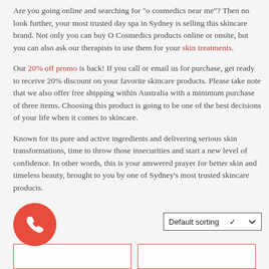Are you going online and searching for “o cosmedics near me”? Then no look further, your most trusted day spa in Sydney is selling this skincare brand. Not only you can buy O Cosmedics products online or onsite, but you can also ask our therapists to use them for your skin treatments.
Our 20% off promo is back! If you call or email us for purchase, get ready to receive 20% discount on your favorite skincare products. Please take note that we also offer free shipping within Australia with a minimum purchase of three items. Choosing this product is going to be one of the best decisions of your life when it comes to skincare.
Known for its pure and active ingredients and delivering serious skin transformations, time to throw those insecurities and start a new level of confidence. In other words, this is your answered prayer for better skin and timeless beauty, brought to you by one of Sydney’s most trusted skincare products.
[Figure (other): Red circular phone call button icon]
[Figure (other): Default sorting dropdown selector with chevron arrow]
[Figure (other): Two product card placeholders with red borders at bottom of page]